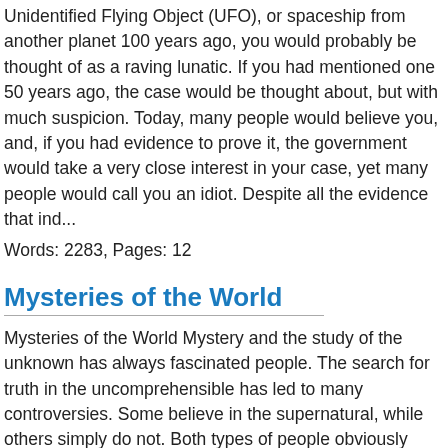Unidentified Flying Object (UFO), or spaceship from another planet 100 years ago, you would probably be thought of as a raving lunatic. If you had mentioned one 50 years ago, the case would be thought about, but with much suspicion. Today, many people would believe you, and, if you had evidence to prove it, the government would take a very close interest in your case, yet many people would call you an idiot. Despite all the evidence that ind...
Words: 2283, Pages: 12
Mysteries of the World
Mysteries of the World Mystery and the study of the unknown has always fascinated people. The search for truth in the uncomprehensible has led to many controversies. Some believe in the supernatural, while others simply do not. Both types of people obviously have their own reasonings for